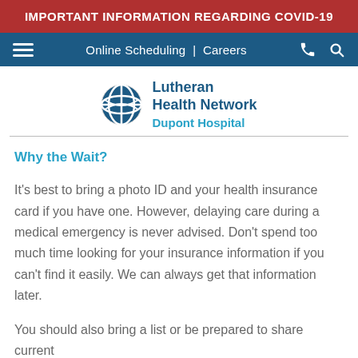IMPORTANT INFORMATION REGARDING COVID-19
[Figure (screenshot): Navigation bar with hamburger menu, Online Scheduling, Careers links, phone and search icons on dark blue background]
[Figure (logo): Lutheran Health Network Dupont Hospital logo with globe/X icon]
Why the Wait?
It's best to bring a photo ID and your health insurance card if you have one. However, delaying care during a medical emergency is never advised. Don't spend too much time looking for your insurance information if you can't find it easily. We can always get that information later.
You should also bring a list or be prepared to share current